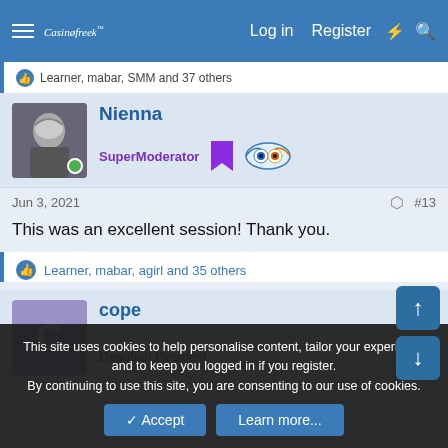Casinofreak — Log in  Register
Learner, mabar, SMM and 37 others
Nienna
SuperModerator
Jun 3, 2021  #13
This was an excellent session! Thank you.
Learner, mabar, agirl and 35 others
cope
Dagobah Resident
This site uses cookies to help personalise content, tailor your experience and to keep you logged in if you register. By continuing to use this site, you are consenting to our use of cookies.
✓ Accept  Learn more...